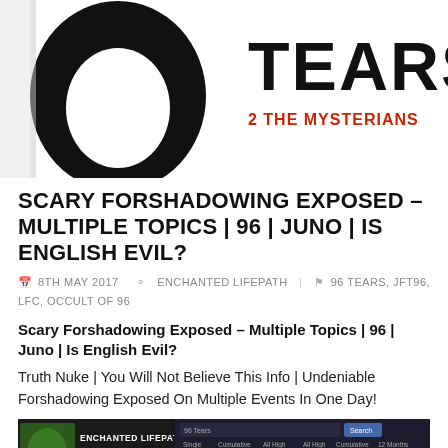[Figure (photo): Top portion of a black and white album or record cover showing large text 'TEARS' and below it '2 THE MYSTERIANS' in bold black letters on white background, with a partial large black circular shape on the left.]
SCARY FORSHADOWING EXPOSED – MULTIPLE TOPICS | 96 | JUNO | IS ENGLISH EVIL?
8TH MAY 2017   ENCHANTED LIFEPATH   96 TEARS, JFT96, LFC, OCCULT OF 96
Scary Forshadowing Exposed – Multiple Topics | 96 | Juno | Is English Evil?
Truth Nuke | You Will Not Believe This Info | Undeniable Forshadowing Exposed On Multiple Events In One Day!
[Figure (screenshot): Screenshot of a website showing 'ENCHANTED LIFEPATH' logo on the left with an image, and 'LFC' text, along with a search bar and data table on the right side showing various statistics.]